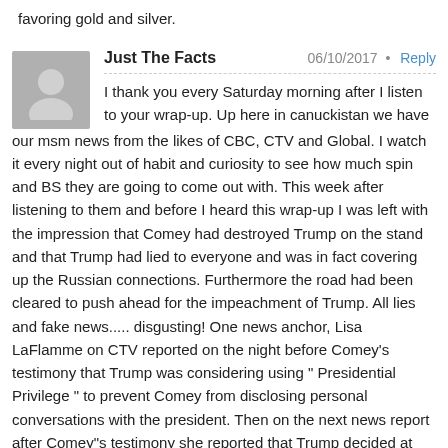favoring gold and silver.
Just The Facts   06/10/2017 · Reply
I thank you every Saturday morning after I listen to your wrap-up. Up here in canuckistan we have our msm news from the likes of CBC, CTV and Global. I watch it every night out of habit and curiosity to see how much spin and BS they are going to come out with. This week after listening to them and before I heard this wrap-up I was left with the impression that Comey had destroyed Trump on the stand and that Trump had lied to everyone and was in fact covering up the Russian connections. Furthermore the road had been cleared to push ahead for the impeachment of Trump. All lies and fake news..... disgusting! One news anchor, Lisa LaFlamme on CTV reported on the night before Comey's testimony that Trump was considering using " Presidential Privilege " to prevent Comey from disclosing personal conversations with the president. Then on the next news report after Comey"s testimony she reported that Trump decided at the last minute not to invoke " Presidential Privilege " . Correct me if I am wrong, but I didn't hear this